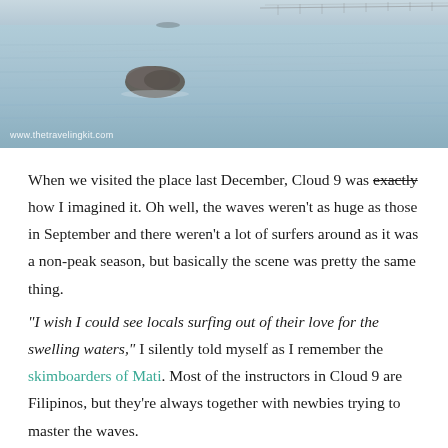[Figure (photo): Ocean/sea scene with a rocky outcrop visible in the water, calm blue-grey water, with a bridge or pier visible in the far background. Watermark 'www.thetravelingkit.com' in bottom-left corner.]
When we visited the place last December, Cloud 9 was exactly how I imagined it. Oh well, the waves weren't as huge as those in September and there weren't a lot of surfers around as it was a non-peak season, but basically the scene was pretty the same thing.
"I wish I could see locals surfing out of their love for the swelling waters," I silently told myself as I remember the skimboarders of Mati. Most of the instructors in Cloud 9 are Filipinos, but they're always together with newbies trying to master the waves.